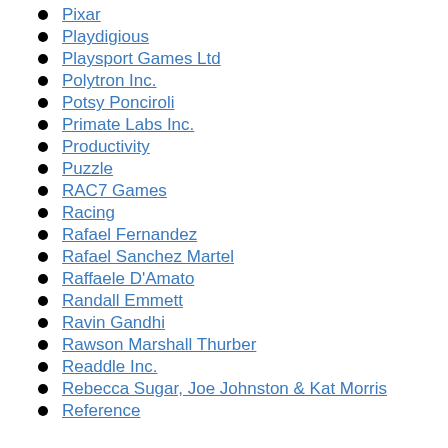Pixar
Playdigious
Playsport Games Ltd
Polytron Inc.
Potsy Ponciroli
Primate Labs Inc.
Productivity
Puzzle
RAC7 Games
Racing
Rafael Fernandez
Rafael Sanchez Martel
Raffaele D'Amato
Randall Emmett
Ravin Gandhi
Rawson Marshall Thurber
Readdle Inc.
Rebecca Sugar, Joe Johnston & Kat Morris
Reference